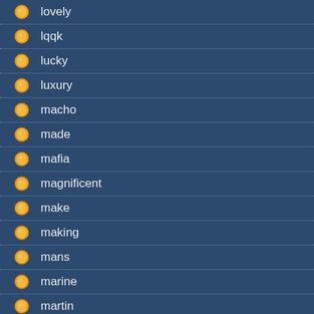lovely
lqqk
lucky
luxury
macho
made
mafia
magnificent
make
making
mans
marine
martin
masonic
massive